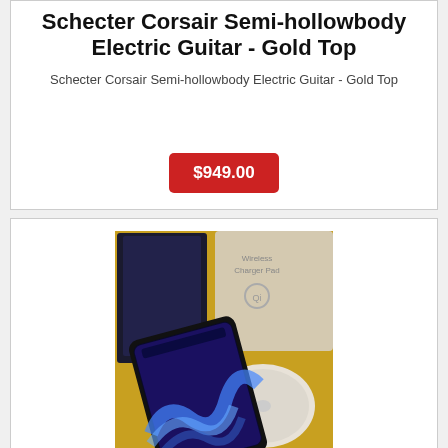Schecter Corsair Semi-hollowbody Electric Guitar - Gold Top
Schecter Corsair Semi-hollowbody Electric Guitar - Gold Top
$949.00
[Figure (photo): Samsung Galaxy Note 9 phone with wireless charger pad on a yellow surface, alongside product boxes]
Samsung Galaxy Note 9 128gb Ocean Blue W Wireless Charger Unlocked